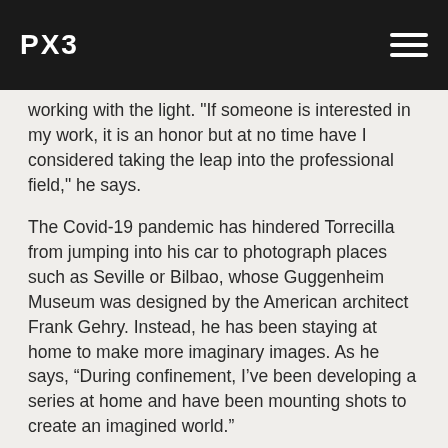PX3
working with the light. "If someone is interested in my work, it is an honor but at no time have I considered taking the leap into the professional field," he says.
The Covid-19 pandemic has hindered Torrecilla from jumping into his car to photograph places such as Seville or Bilbao, whose Guggenheim Museum was designed by the American architect Frank Gehry. Instead, he has been staying at home to make more imaginary images. As he says, “During confinement, I’ve been developing a series at home and have been mounting shots to create an imagined world.”
By Anna Sansom